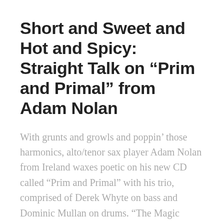Short and Sweet and Hot and Spicy: Straight Talk on “Prim and Primal” from Adam Nolan
With grunts and growls and poppin’ those harmonics, alto/tenor sax player Adam Nolan from Ireland waxes poetic on his new CD called “Prim and Primal” with his trio, comprised of Derek Whyte on bass and Dominic Mullan on drums. “The Magic Carpet” turns arpeggios inside out while the bass stays strong and true; drums stir,...
Continue Reading...